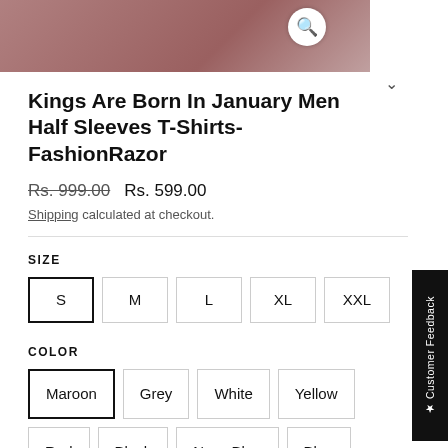[Figure (photo): Product image showing a maroon/dark red t-shirt being worn, with a search icon overlay and a chevron arrow]
Kings Are Born In January Men Half Sleeves T-Shirts-FashionRazor
Rs. 999.00  Rs. 599.00
Shipping calculated at checkout.
SIZE
S  M  L  XL  XXL
COLOR
Maroon  Grey  White  Yellow  Red  Black  Navy Blue  Blue